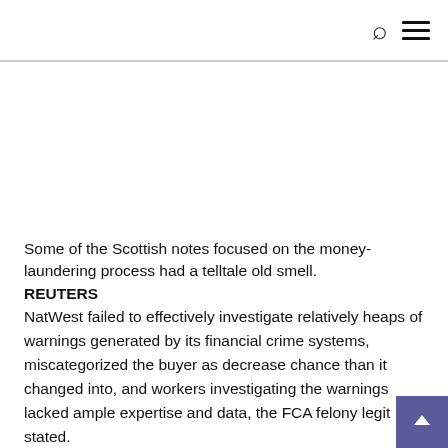[Search icon] [Menu icon]
Some of the Scottish notes focused on the money-laundering process had a telltale old smell.
REUTERS
NatWest failed to effectively investigate relatively heaps of warnings generated by its financial crime systems, miscategorized the buyer as decrease chance than it changed into, and workers investigating the warnings lacked ample expertise and data, the FCA felony legit stated.